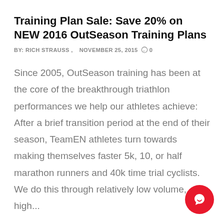Training Plan Sale: Save 20% on NEW 2016 OutSeason Training Plans
BY: RICH STRAUSS ,   NOVEMBER 25, 2015   0
Since 2005, OutSeason training has been at the core of the breakthrough triathlon performances we help our athletes achieve: After a brief transition period at the end of their season, TeamEN athletes turn towards making themselves faster 5k, 10, or half marathon runners and 40k time trial cyclists. We do this through relatively low volume, high...